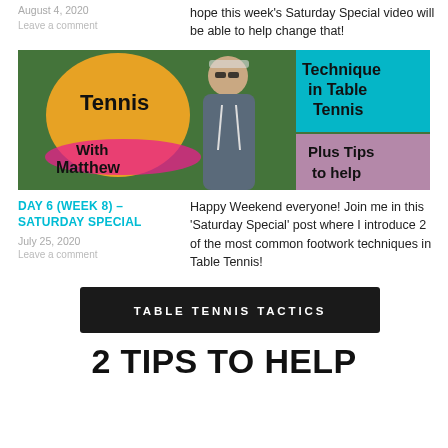August 4, 2020
Leave a comment
hope this week's Saturday Special video will be able to help change that!
[Figure (photo): Thumbnail image for a table tennis Saturday Special video featuring a man in a hoodie with text overlays: 'Tennis', 'With Matthew', 'Technique in Table Tennis', 'Plus Tips to help']
DAY 6 (WEEK 8) – SATURDAY SPECIAL
July 25, 2020
Leave a comment
Happy Weekend everyone! Join me in this 'Saturday Special' post where I introduce 2 of the most common footwork techniques in Table Tennis!
TABLE TENNIS TACTICS
2 TIPS TO HELP